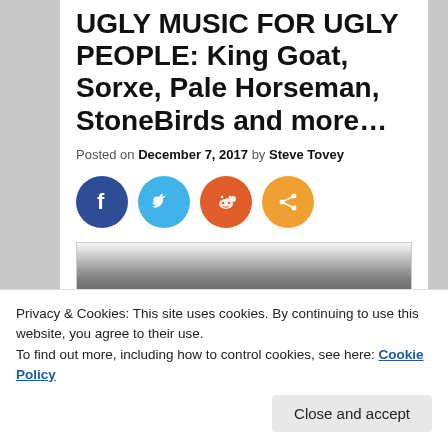UGLY MUSIC FOR UGLY PEOPLE: King Goat, Sorxe, Pale Horseman, StoneBirds and more…
Posted on December 7, 2017 by Steve Tovey
[Figure (other): Social sharing icons: Facebook (dark blue circle), Twitter (light blue circle), Reddit (orange circle), Share (orange circle)]
[Figure (photo): Partial black and white photo, dark image visible at bottom of page]
Privacy & Cookies: This site uses cookies. By continuing to use this website, you agree to their use.
To find out more, including how to control cookies, see here: Cookie Policy
Close and accept